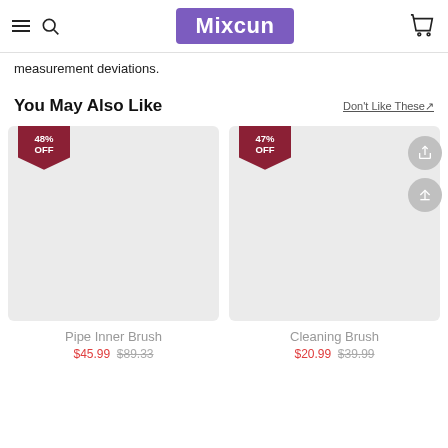Mixcun
measurement deviations.
You May Also Like
Don't Like These↗
[Figure (screenshot): Product card for Pipe Inner Brush with 48% OFF badge, light gray image placeholder]
[Figure (screenshot): Product card for Cleaning Brush with 47% OFF badge, share and upload action buttons, light gray image placeholder]
Pipe Inner Brush
Cleaning Brush
$45.99  $89.33
$20.99  $39.99